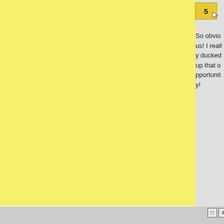[Figure (screenshot): Yellow panel occupying left portion of page, gray panel on right side with post number 5 in a gold/yellow box]
So obvious! I really ducked up that opportunity!
Feb 12, 2019 23:42
Profile
Post H